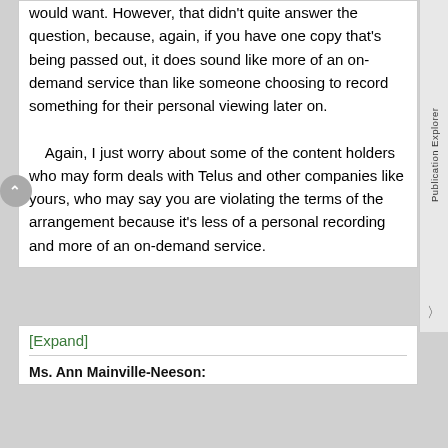would want. However, that didn't quite answer the question, because, again, if you have one copy that's being passed out, it does sound like more of an on-demand service than like someone choosing to record something for their personal viewing later on.

Again, I just worry about some of the content holders who may form deals with Telus and other companies like yours, who may say you are violating the terms of the arrangement because it's less of a personal recording and more of an on-demand service.
[Expand]
Ms. Ann Mainville-Neeson: